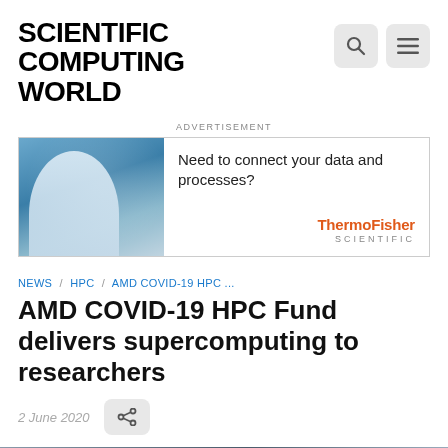SCIENTIFIC COMPUTING WORLD
[Figure (other): Advertisement banner: ThermoFisher Scientific - 'Need to connect your data and processes?']
NEWS / HPC / AMD COVID-19 HPC ...
AMD COVID-19 HPC Fund delivers supercomputing to researchers
2 June 2020
[Figure (photo): Partial bottom image of article content]